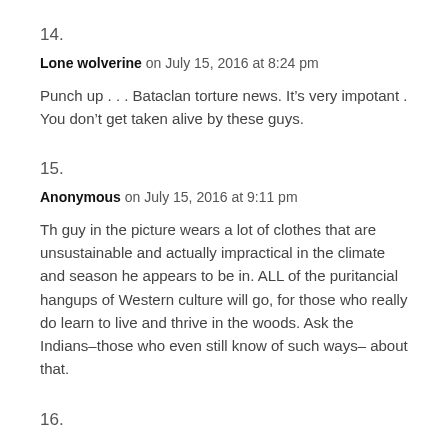14.
Lone wolverine on July 15, 2016 at 8:24 pm
Punch up . . . Bataclan torture news. It’s very impotant . You don’t get taken alive by these guys.
15.
Anonymous on July 15, 2016 at 9:11 pm
Th guy in the picture wears a lot of clothes that are unsustainable and actually impractical in the climate and season he appears to be in. ALL of the puritancial hangups of Western culture will go, for those who really do learn to live and thrive in the woods. Ask the Indians–those who even still know of such ways– about that.
16.